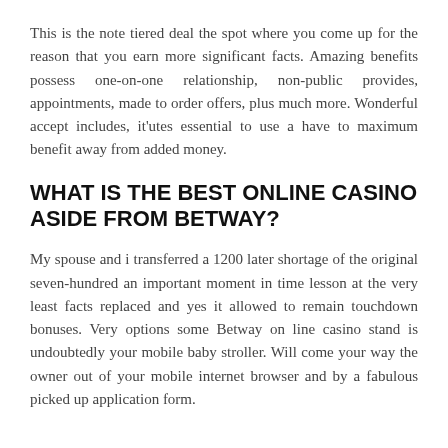This is the note tiered deal the spot where you come up for the reason that you earn more significant facts. Amazing benefits possess one-on-one relationship, non-public provides, appointments, made to order offers, plus much more. Wonderful accept includes, it'utes essential to use a have to maximum benefit away from added money.
WHAT IS THE BEST ONLINE CASINO ASIDE FROM BETWAY?
My spouse and i transferred a 1200 later shortage of the original seven-hundred an important moment in time lesson at the very least facts replaced and yes it allowed to remain touchdown bonuses. Very options some Betway on line casino stand is undoubtedly your mobile baby stroller. Will come your way the owner out of your mobile internet browser and by a fabulous picked up application form.